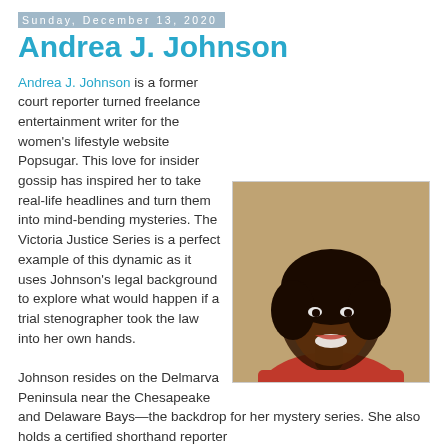Sunday, December 13, 2020
Andrea J. Johnson
Andrea J. Johnson is a former court reporter turned freelance entertainment writer for the women's lifestyle website Popsugar. This love for insider gossip has inspired her to take real-life headlines and turn them into mind-bending mysteries. The Victoria Justice Series is a perfect example of this dynamic as it uses Johnson's legal background to explore what would happen if a trial stenographer took the law into her own hands.

Johnson resides on the Delmarva Peninsula near the Chesapeake and Delaware Bays—the backdrop for her mystery series. She also holds a certified shorthand reporter
[Figure (photo): Headshot photo of Andrea J. Johnson, a smiling Black woman with short dark hair, wearing a red top, photographed against a warm stone/beige background.]